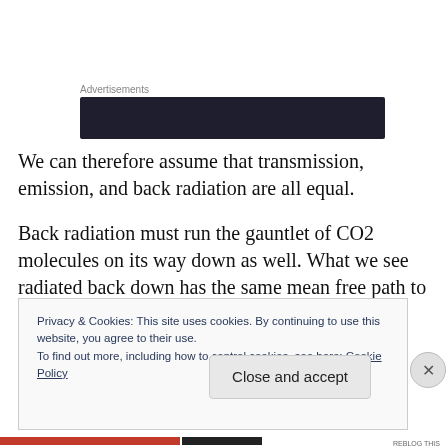Advertisements
[Figure (other): Dark advertisement banner block]
We can therefore assume that transmission, emission, and back radiation are all equal.
Back radiation must run the gauntlet of CO2 molecules on its way down as well. What we see radiated back down has the same mean free path to escape as what is
Privacy & Cookies: This site uses cookies. By continuing to use this website, you agree to their use.
To find out more, including how to control cookies, see here: Cookie Policy
Close and accept